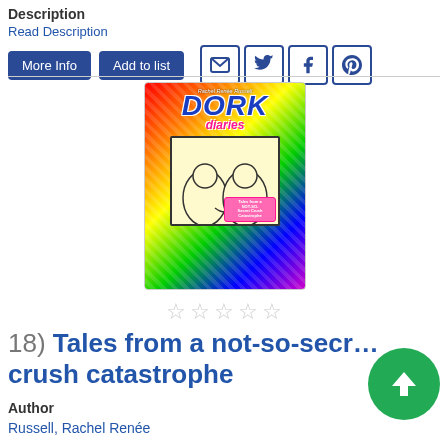Description
Read Description
[Figure (screenshot): Screenshot of a library catalog page showing More Info and Add to list buttons, plus social sharing icons for email, Twitter, Facebook, and Pinterest]
[Figure (photo): Book cover of Dork Diaries: Tales from a NOT-SO-Secret Crush Catastrophe by Rachel Renée Russell, featuring two cartoon girls on a rainbow heart-patterned background]
[Figure (other): Five empty star rating icons]
18) Tales from a not-so-secret crush catastrophe
Author
Russell, Rachel Renée